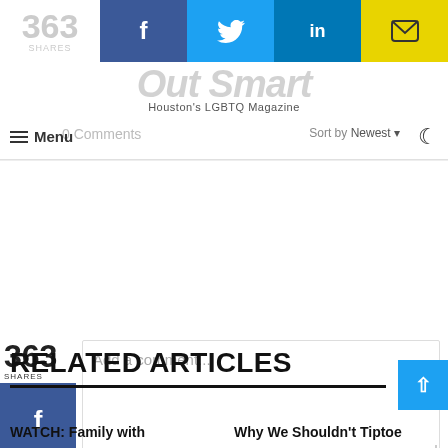[Figure (screenshot): Social share bar with 363 shares count, Facebook, Twitter, LinkedIn, and email buttons]
Out Smart - Houston's LGBTQ Magazine
0 Comments
Menu
Sort by Newest
363 SHARES
Add a comment...
Facebook Comments Plugin
RELATED ARTICLES
WATCH: Family with
Why We Shouldn't Tiptoe